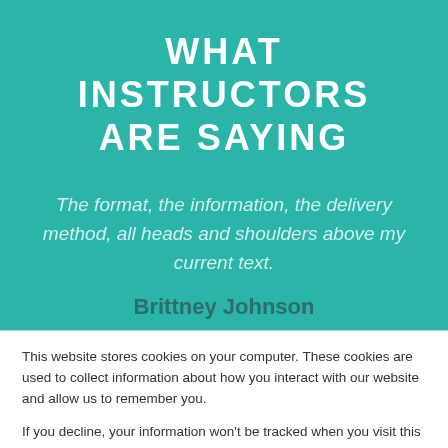WHAT INSTRUCTORS ARE SAYING
The format, the information, the delivery method, all heads and shoulders above my current text.
Brittney Johnson
This website stores cookies on your computer. These cookies are used to collect information about how you interact with our website and allow us to remember you.
If you decline, your information won’t be tracked when you visit this website.